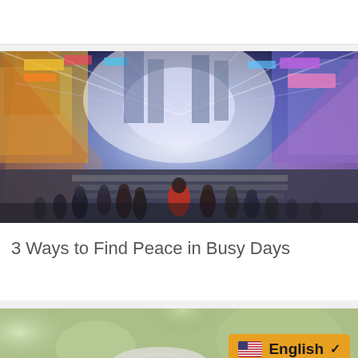[Figure (photo): Blurred motion photo of a busy city crossing at night with colorful neon lights and crowds of people walking]
3 Ways to Find Peace in Busy Days
[Figure (photo): Partial photo of a person wearing a white hat outdoors with bokeh green background, and an English language selector badge overlay]